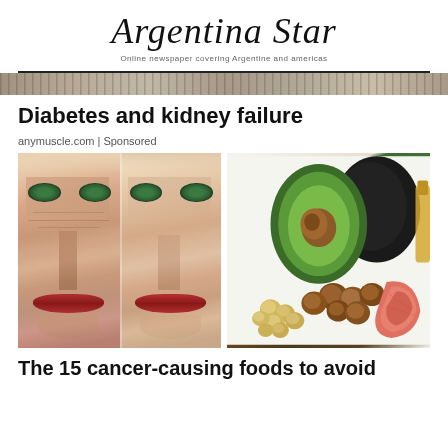Argentina Star
Online newspaper covering Argentine and americas
Diabetes and kidney failure
anymuscle.com | Sponsored
[Figure (photo): Left half: two side-by-side close-up face images of a woman showing aging comparison. Right half: food image showing avocado (halved and whole), hazelnuts, chickpeas, and pieces of salmon on a white background.]
The 15 cancer-causing foods to avoid